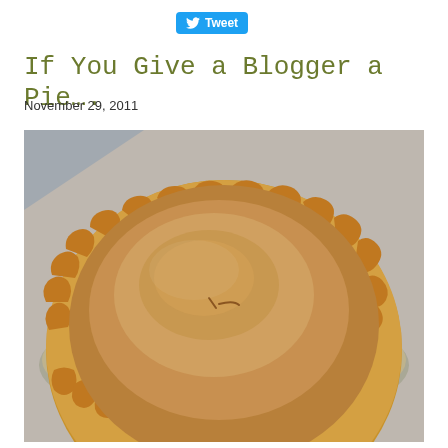[Figure (other): Twitter Tweet button with bird logo]
If You Give a Blogger a Pie….
November 29, 2011
[Figure (photo): Photograph of a baked pie with crimped crust in a glass pie dish, viewed from above at slight angle. The pie filling is golden-brown and domed, with two small slits in the center. The crust has a decorative crimped/scalloped edge.]